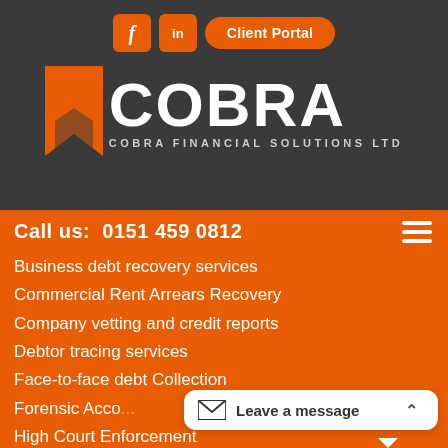[Figure (logo): Cobra Financial Solutions Ltd logo with orange bookmark icon, COBRA in large white text, and COBRA FINANCIAL SOLUTIONS LTD subtitle on dark grey background. Social media buttons (Facebook, LinkedIn) and Client Portal button above.]
Call us:  0151 459 0812
Business debt recovery services
Commercial Rent Arrears Recovery
Company vetting and credit reports
Debtor tracing services
Face-to-face debt Collection
Forensic Acco...
High Court Enforcement
Leave a message